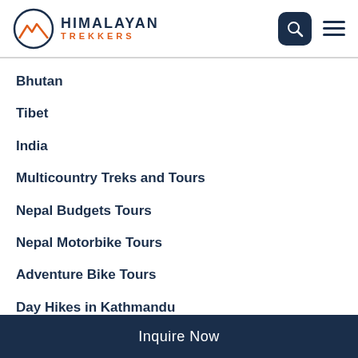HIMALAYAN TREKKERS
Bhutan
Tibet
India
Multicountry Treks and Tours
Nepal Budgets Tours
Nepal Motorbike Tours
Adventure Bike Tours
Day Hikes in Kathmandu
Cultural and Religious Tours
Inquire Now